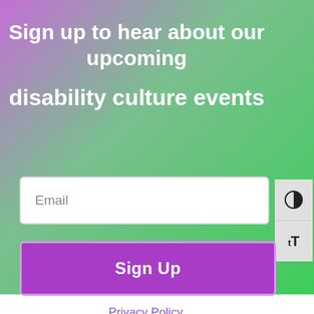Sign up to hear about our upcoming
disability culture events
Email
Sign Up
Privacy Policy